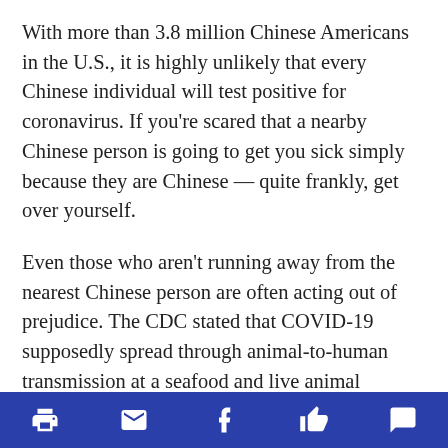With more than 3.8 million Chinese Americans in the U.S., it is highly unlikely that every Chinese individual will test positive for coronavirus. If you're scared that a nearby Chinese person is going to get you sick simply because they are Chinese — quite frankly, get over yourself.
Even those who aren't running away from the nearest Chinese person are often acting out of prejudice. The CDC stated that COVID-19 supposedly spread through animal-to-human transmission at a seafood and live animal market. When rumors spread that the virus supposedly originated from bats, many swiftly mocked potential Chinese consumption of bats, even using it to justify Chinese suffering due to COVID-19.
[print] [email] [facebook] [like] [comment]